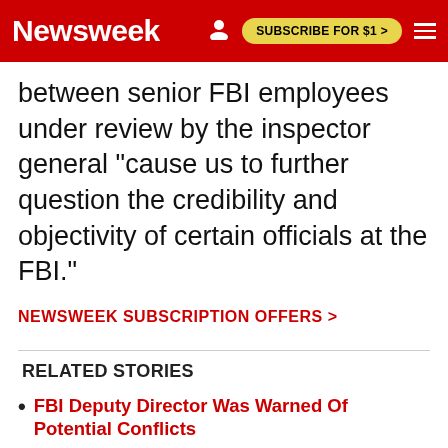Newsweek | SUBSCRIBE FOR $1 >
between senior FBI employees under review by the inspector general "cause us to further question the credibility and objectivity of certain officials at the FBI."
NEWSWEEK SUBSCRIPTION OFFERS >
RELATED STORIES
FBI Deputy Director Was Warned Of Potential Conflicts
FBI Releases Docs Related to Clinton-Lynch Tarmac Talk
Attacks On FBI Make Job Harder: Agents Pan...